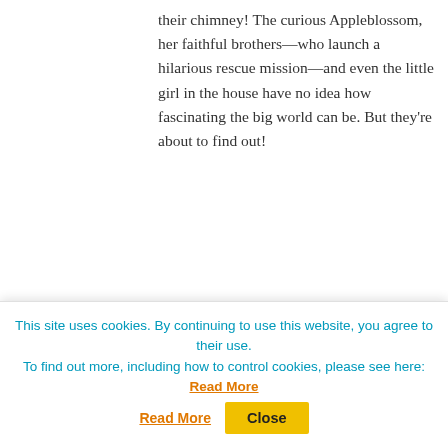their chimney! The curious Appleblossom, her faithful brothers—who launch a hilarious rescue mission—and even the little girl in the house have no idea how fascinating the big world can be. But they're about to find out!
[Figure (illustration): Book cover of 'School for Sidekicks' — The Academy of Metahuman Operatives. Red and blue circular badge design with lightning bolt, title text 'SCHOOL FOR SIDEKICKS' by Kelly McCullough.]
School for Sidekicks by Kelly McCullough

Evan Quick has spent his whole life dreaming of becoming a hero. Every morning he wakes up and
This site uses cookies. By continuing to use this website, you agree to their use.
To find out more, including how to control cookies, please see here: Read More